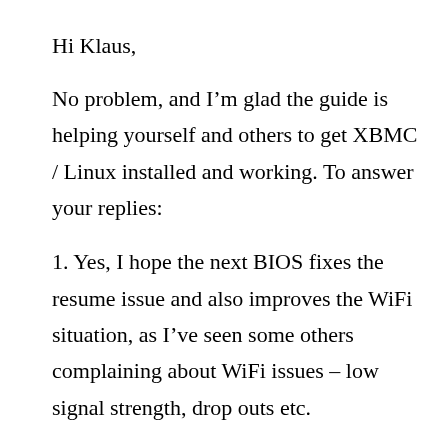Hi Klaus,
No problem, and I’m glad the guide is helping yourself and others to get XBMC / Linux installed and working. To answer your replies:
1. Yes, I hope the next BIOS fixes the resume issue and also improves the WiFi situation, as I’ve seen some others complaining about WiFi issues – low signal strength, drop outs etc.
2a. Yes, I’ll add a bit how to get the menu navigation sounds. Thanks for the tip.